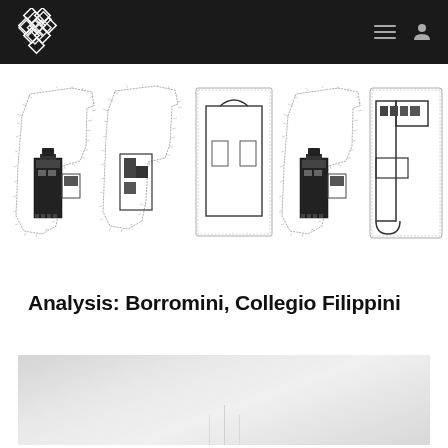Navigation bar with logo, hamburger menu, and user icon
[Figure (illustration): Five architectural floor plan drawings of Borromini Collegio Filippini shown side by side, black and white line drawings showing building layouts from above]
Analysis: Borromini, Collegio Filippini
[Figure (photo): Partial view of an architectural photograph or rendering, light gray tones, bottom of page preview]